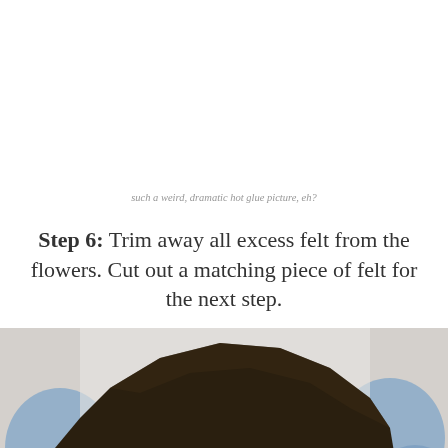such a weird, dramatic hot glue picture, eh?
Step 6: Trim away all excess felt from the flowers. Cut out a matching piece of felt for the next step.
[Figure (photo): A dark brown felt piece shaped like flower petals viewed from above, sitting on a white/blue background. A scroll-up button is visible in the bottom right corner.]